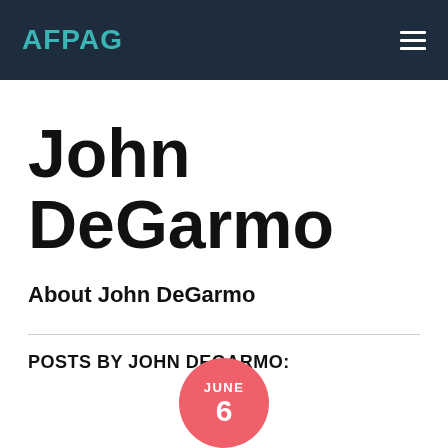AFPAG
John DeGarmo
About John DeGarmo
POSTS BY JOHN DEGARMO:
JUNE 6